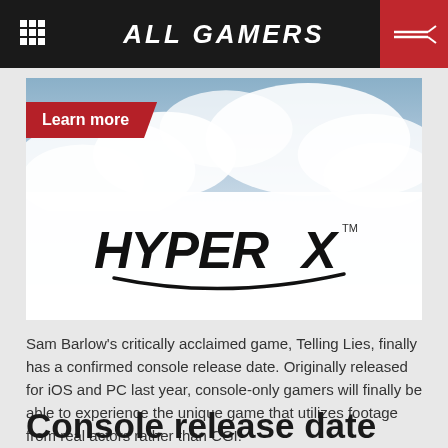ALL GAMERS
[Figure (logo): HyperX advertisement banner with sky/cloud background, 'Learn more' button, and HyperX logo]
Sam Barlow's critically acclaimed game, Telling Lies, finally has a confirmed console release date. Originally released for iOS and PC last year, console-only gamers will finally be able to experience the unique game that utilizes footage from real actors rather than CGI.
Console release date